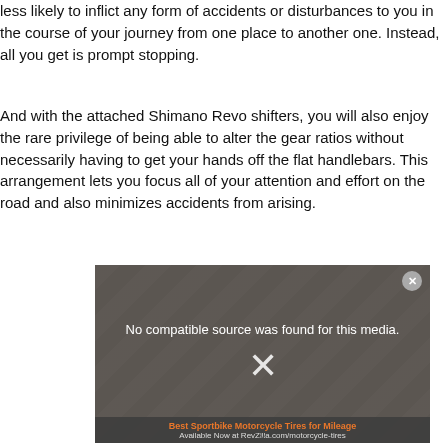less likely to inflict any form of accidents or disturbances to you in the course of your journey from one place to another one. Instead, all you get is prompt stopping.
And with the attached Shimano Revo shifters, you will also enjoy the rare privilege of being able to alter the gear ratios without necessarily having to get your hands off the flat handlebars. This arrangement lets you focus all of your attention and effort on the road and also minimizes accidents from arising.
[Figure (screenshot): Embedded video player showing error message 'No compatible source was found for this media.' with a large X icon, close button, and an advertisement bar at the bottom for 'Best Sportbike Motorcycle Tires for Mileage' from RevZilla.com/motorcycle-tires.]